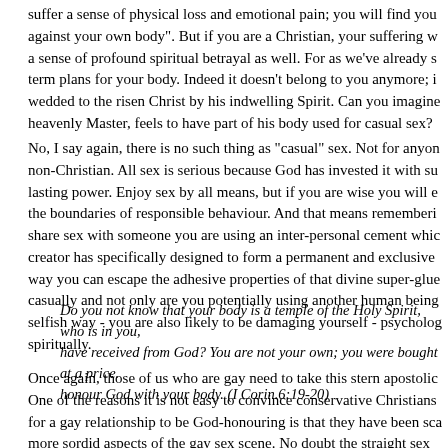suffer a sense of physical loss and emotional pain; you will find you against your own body". But if you are a Christian, your suffering w a sense of profound spiritual betrayal as well. For as we've already s term plans for your body. Indeed it doesn't belong to you anymore; i wedded to the risen Christ by his indwelling Spirit. Can you imagine heavenly Master, feels to have part of his body used for casual sex?
No, I say again, there is no such thing as "casual" sex. Not for anyon non-Christian. All sex is serious because God has invested it with su lasting power. Enjoy sex by all means, but if you are wise you will e the boundaries of responsible behaviour. And that means rememberi share sex with someone you are using an inter-personal cement whic creator has specifically designed to form a permanent and exclusive way you can escape the adhesive properties of that divine super-glue casually and not only are you potentially using another human being selfish way - you are also likely to be damaging yourself - psycholog spiritually.
Do you not know that your body is a temple of the Holy Spirit, who is in you, have received from God? You are not your own; you were bought at a price. honour God with your body. (I Corin.6:19-20)
Once again, those of us who are gay need to take this stern apostolic One of the reasons it is not easy to convince conservative Christians for a gay relationship to be God-honouring is that they have been sca more sordid aspects of the gay sex scene. No doubt the straight sex